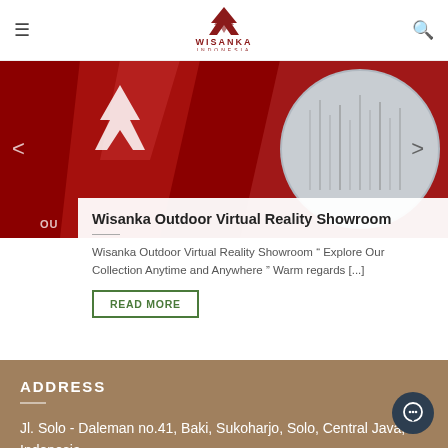[Figure (logo): Wisanka Indonesia logo — red chevron W mark above WISANKA INDONESIA text in red]
[Figure (photo): Banner image showing Wisanka outdoor showroom with dark red polygonal background and white W logo, with a globe/city image on the right side]
Wisanka Outdoor Virtual Reality Showroom
Wisanka Outdoor Virtual Reality Showroom " Explore Our Collection Anytime and Anywhere " Warm regards [...]
READ MORE
ADDRESS
Jl. Solo - Daleman no.41, Baki, Sukoharjo, Solo, Central Java, Indonesia.